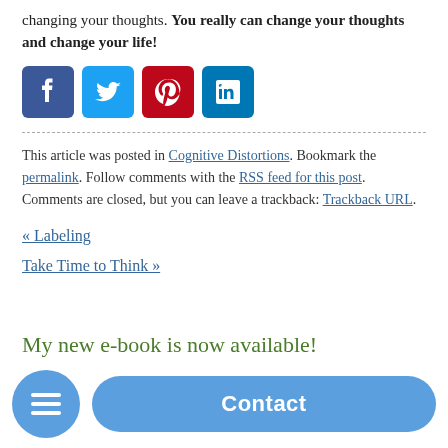changing your thoughts. You really can change your thoughts and change your life!
[Figure (other): Social media share buttons: Facebook, Twitter, Pinterest, LinkedIn]
This article was posted in Cognitive Distortions. Bookmark the permalink. Follow comments with the RSS feed for this post. Comments are closed, but you can leave a trackback: Trackback URL.
« Labeling
Take Time to Think »
My new e-book is now available!
[Figure (other): Bottom UI bar with hamburger menu button and Contact button]